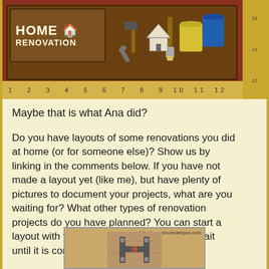[Figure (illustration): Home Renovation banner image with brick background, wooden sign reading HOME RENOVATION, tools (hammer, wrench, paintbrush, paint cans), and a yellow ruler at the bottom numbered 1-12.]
Maybe that is what Ana did?
Do you have layouts of some renovations you did at home (or for someone else)? Show us by linking in the comments below. If you have not made a layout yet (like me), but have plenty of pictures to document your projects, what are you waiting for? What other types of renovation projects do you have planned? You can start a layout with your plans. You don't have to wait until it is completed!
[Figure (illustration): Partial scrapbook layout image with tan/wood background and decorative hardware element, with URL http://scrapbookcampus.com in top right corner.]